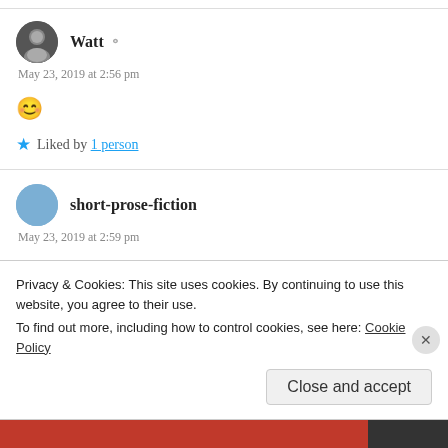Watt
May 23, 2019 at 2:56 pm
😊
★ Liked by 1 person
short-prose-fiction
May 23, 2019 at 2:59 pm
🙂
Privacy & Cookies: This site uses cookies. By continuing to use this website, you agree to their use. To find out more, including how to control cookies, see here: Cookie Policy
Close and accept